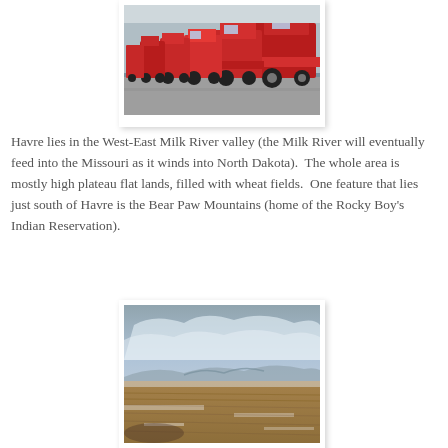[Figure (photo): A row of large red agricultural combines/harvesters parked along a road or lot, photographed from the side. The machines are Case IH brand, red in color, lined up in a long row.]
Havre lies in the West-East Milk River valley (the Milk River will eventually feed into the Missouri as it winds into North Dakota).  The whole area is mostly high plateau flat lands, filled with wheat fields.  One feature that lies just south of Havre is the Bear Paw Mountains (home of the Rocky Boy's Indian Reservation).
[Figure (photo): A wide open landscape photograph showing high plateau flat lands with wheat fields dusted with snow in the foreground, and mountains visible in the distance under a partly cloudy sky.]